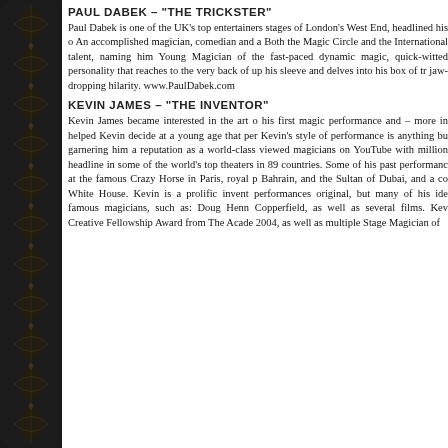PAUL DABEK – "THE TRICKSTER"
Paul Dabek is one of the UK's top entertainers stages of London's West End, headlined his o An accomplished magician, comedian and a Both the Magic Circle and the International talent, naming him Young Magician of the fast-paced dynamic magic, quick-witted personality that reaches to the very back of up his sleeve and delves into his box of tr jaw-dropping hilarity. www.PaulDabek.com
KEVIN JAMES – "THE INVENTOR"
Kevin James became interested in the art o his first magic performance and – more in helped Kevin decide at a young age that per Kevin's style of performance is anything bu garnering him a reputation as a world-class viewed magicians on YouTube with million headline in some of the world's top theaters in 89 countries. Some of his past performanc at the famous Crazy Horse in Paris, royal p Bahrain, and the Sultan of Dubai, and a co White House. Kevin is a prolific invent performances original, but many of his ide famous magicians, such as: Doug Henn Copperfield, as well as several films. Kev Creative Fellowship Award from The Acade 2004, as well as multiple Stage Magician of